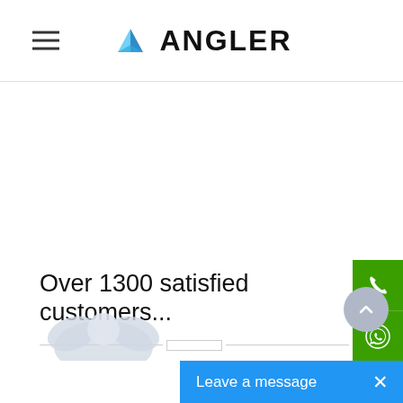[Figure (logo): ANGLER logo with blue geometric triangular icon and bold ANGLER text]
Over 1300 satisfied customers...
[Figure (other): Green phone call button (side floating button)]
[Figure (other): Green WhatsApp button (side floating button)]
[Figure (other): Blue-grey circular back-to-top arrow button]
[Figure (other): Blue 'Leave a message' chat widget with X close button]
[Figure (illustration): Partial illustration visible at bottom left of page, appears to be a character or mascot]